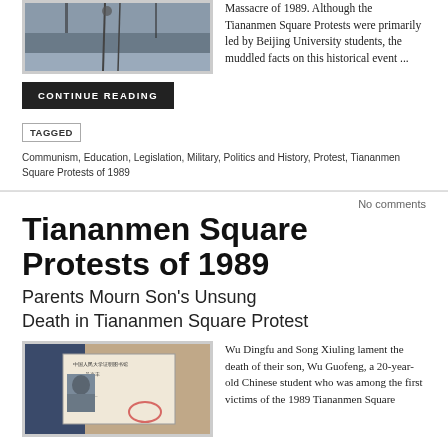[Figure (photo): Black and white photo of a street scene, likely Tiananmen Square area]
Massacre of 1989. Although the Tiananmen Square Protests were primarily led by Beijing University students, the muddled facts on this historical event ...
CONTINUE READING
TAGGED  Communism, Education, Legislation, Military, Politics and History, Protest, Tiananmen Square Protests of 1989
No comments
Tiananmen Square Protests of 1989
Parents Mourn Son's Unsung Death in Tiananmen Square Protest
[Figure (photo): Photo of a Chinese ID card or student ID document showing a portrait photo and Chinese text with red stamps]
Wu Dingfu and Song Xiuling lament the death of their son, Wu Guofeng, a 20-year-old Chinese student who was among the first victims of the 1989 Tiananmen Square